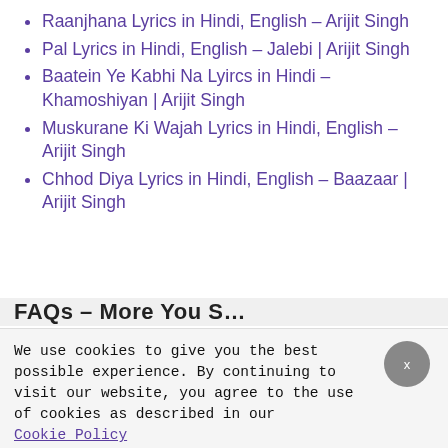Raanjhana Lyrics in Hindi, English – Arijit Singh
Pal Lyrics in Hindi, English – Jalebi | Arijit Singh
Baatein Ye Kabhi Na Lyircs in Hindi – Khamoshiyan | Arijit Singh
Muskurane Ki Wajah Lyrics in Hindi, English – Arijit Singh
Chhod Diya Lyrics in Hindi, English – Baazaar | Arijit Singh
FAQs – More You S…
We use cookies to give you the best possible experience. By continuing to visit our website, you agree to the use of cookies as described in our Cookie Policy